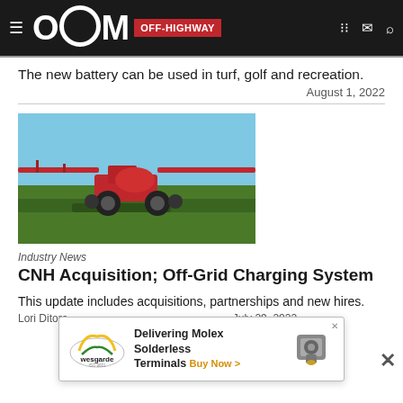OEM OFF-HIGHWAY
The new battery can be used in turf, golf and recreation.
August 1, 2022
[Figure (photo): A red self-propelled sprayer machine with extended boom arms operating in a green field under a blue sky.]
Industry News
CNH Acquisition; Off-Grid Charging System
This update includes acquisitions, partnerships and new hires.
Lori Ditoro ... July 29, 2022
[Figure (other): Advertisement: Wesgarde - Delivering Molex Solderless Terminals. Buy Now >]